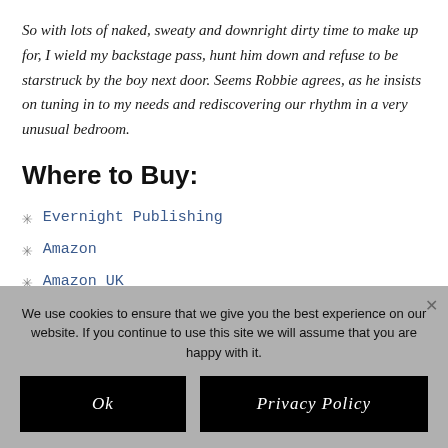So with lots of naked, sweaty and downright dirty time to make up for, I wield my backstage pass, hunt him down and refuse to be starstruck by the boy next door. Seems Robbie agrees, as he insists on tuning in to my needs and rediscovering our rhythm in a very unusual bedroom.
Where to Buy:
Evernight Publishing
Amazon
Amazon UK
ARe
We use cookies to ensure that we give you the best experience on our website. If you continue to use this site we will assume that you are happy with it.
Ok
Privacy Policy